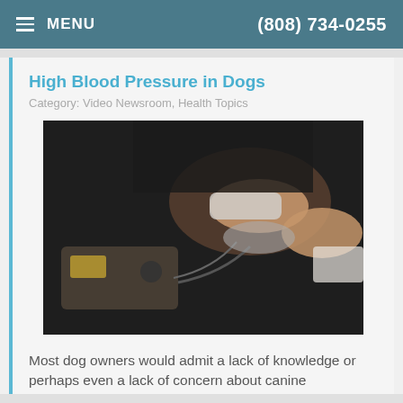MENU  (808) 734-0255
High Blood Pressure in Dogs
Category: Video Newsroom, Health Topics
[Figure (photo): Veterinarian using a blood pressure monitoring device on a dog's limb. Medical equipment visible in foreground.]
Most dog owners would admit a lack of knowledge or perhaps even a lack of concern about canine hypertension, or high blood pressure in dogs. After all, since they don't have the same vices as we do, they shouldn't be at risk, right? Well, the answer may be a little more complex than just life style choices. One
Read more